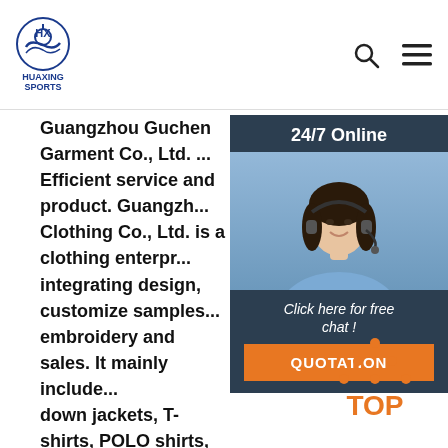HUAXING SPORTS — header with logo, search and menu icons
Guangzhou Guchen Garment Co., Ltd. ... garment Efficient service and product. Guangzh... Clothing Co., Ltd. is a clothing enterpr... integrating design, customize samples... embroidery and sales. It mainly include... down jackets, T-shirts, POLO shirts, ele... uniforms, overalls. windbreakers, sport... shirts. Production and sales of knitted... fabrics .
[Figure (photo): 24/7 Online chat widget with a customer service representative woman wearing a headset, smiling, over a dark blue background with 'Click here for free chat!' text and a QUOTATION button]
Get Price
[Figure (other): TOP button with orange dot-triangle logo and orange TOP text for scroll-to-top navigation]